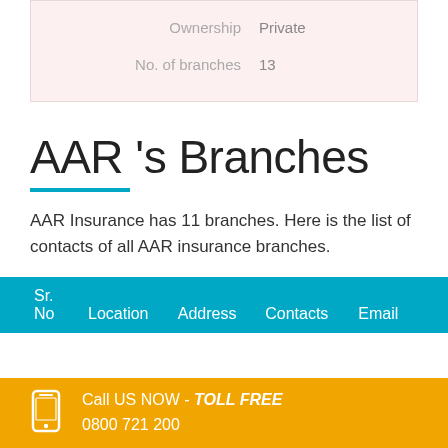| Ownership | Private |
| No. of branches | 13 |
AAR 's Branches
AAR Insurance has 11 branches. Here is the list of contacts of all AAR insurance branches.
| Sr.
No | Location | Address | Contacts | Email |
| --- | --- | --- | --- | --- |
Call US NOW - TOLL FREE
0800 721 200